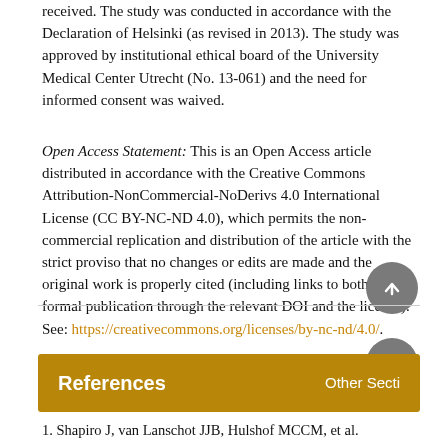received. The study was conducted in accordance with the Declaration of Helsinki (as revised in 2013). The study was approved by institutional ethical board of the University Medical Center Utrecht (No. 13-061) and the need for informed consent was waived.
Open Access Statement: This is an Open Access article distributed in accordance with the Creative Commons Attribution-NonCommercial-NoDerivs 4.0 International License (CC BY-NC-ND 4.0), which permits the non-commercial replication and distribution of the article with the strict proviso that no changes or edits are made and the original work is properly cited (including links to both the formal publication through the relevant DOI and the license). See: https://creativecommons.org/licenses/by-nc-nd/4.0/.
References
1. Shapiro J, van Lanschot JJB, Hulshof MCCM, et al.